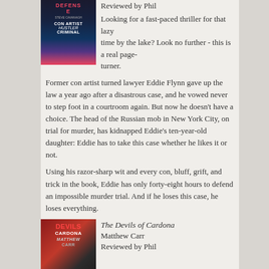[Figure (photo): Book cover of a thriller novel - Defense by Steve Cavanagh, con artist hustler criminal]
Reviewed by Phil
Looking for a fast-paced thriller for that lazy time by the lake? Look no further - this is a real page-turner.
Former con artist turned lawyer Eddie Flynn gave up the law a year ago after a disastrous case, and he vowed never to step foot in a courtroom again. But now he doesn't have a choice. The head of the Russian mob in New York City, on trial for murder, has kidnapped Eddie's ten-year-old daughter: Eddie has to take this case whether he likes it or not.
Using his razor-sharp wit and every con, bluff, grift, and trick in the book, Eddie has only forty-eight hours to defend an impossible murder trial. And if he loses this case, he loses everything.
[Figure (photo): Book cover of The Devils of Cardona by Matthew Carr]
The Devils of Cardona
Matthew Carr
Reviewed by Phil